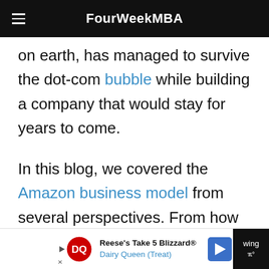FourWeekMBA
on earth, has managed to survive the dot-com bubble while building a company that would stay for years to come.
In this blog, we covered the Amazon business model from several perspectives. From how its prime
[Figure (screenshot): Advertisement bar for Dairy Queen Reese's Take 5 Blizzard with DQ logo, navigation arrow, and partial dark right panel]